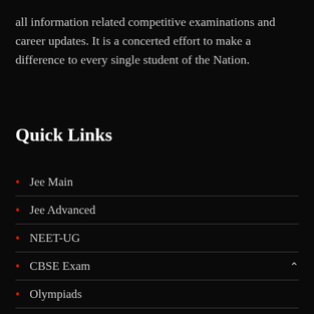all information related competitive examinations and career updates. It is a concerted effort to make a difference to every single student of the Nation.
Quick Links
Jee Main
Jee Advanced
NEET-UG
CBSE Exam
Olympiads